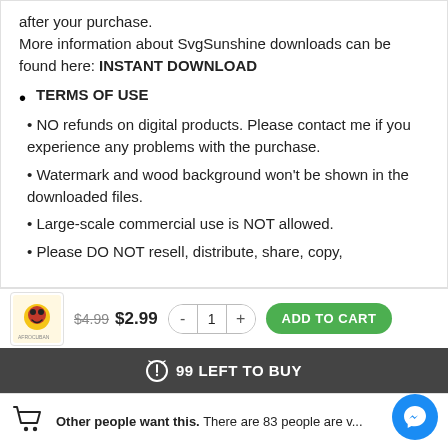after your purchase. More information about SvgSunshine downloads can be found here: INSTANT DOWNLOAD
TERMS OF USE
• NO refunds on digital products. Please contact me if you experience any problems with the purchase.
• Watermark and wood background won't be shown in the downloaded files.
• Large-scale commercial use is NOT allowed.
• Please DO NOT resell, distribute, share, copy,
$4.99  $2.99  -  1  +  ADD TO CART
99 LEFT TO BUY
Other people want this. There are 83 people are v... is.